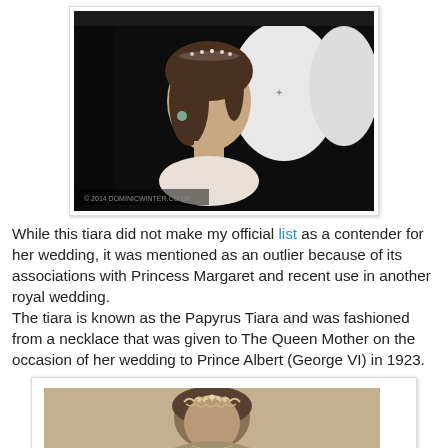[Figure (photo): Woman wearing a tiara, seen through a car window at night, sitting in a luxury vehicle with white leather interior.]
While this tiara did not make my official list as a contender for her wedding, it was mentioned as an outlier because of its associations with Princess Margaret and recent use in another royal wedding.
The tiara is known as the Papyrus Tiara and was fashioned from a necklace that was given to The Queen Mother on the occasion of her wedding to Prince Albert (George VI) in 1923.
[Figure (photo): Historical sepia-toned photograph of a woman wearing the Papyrus Tiara, shown from shoulders up.]